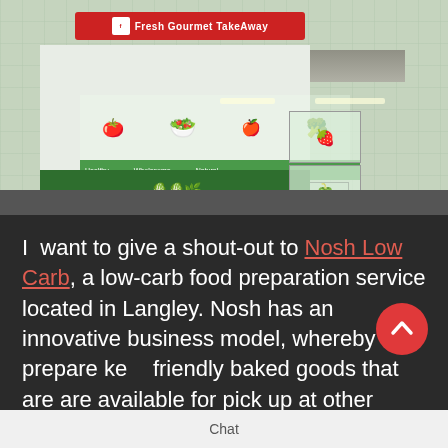[Figure (photo): Exterior photo of 'Fresh Gourmet Take Away' store front with green-tiled walls, food imagery on windows (vegetables, salads), green signage banners, and a red sign bar at the top with the store name.]
I want to give a shout-out to Nosh Low Carb, a low-carb food preparation service located in Langley. Nosh has an innovative business model, whereby they prepare ke[to-]friendly baked goods that are are available for pick up at other
Chat